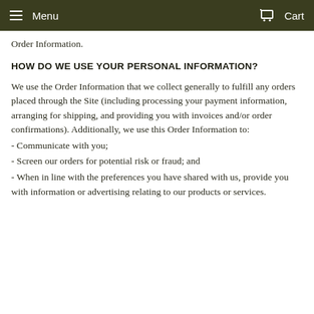Menu   Cart
Order Information.
HOW DO WE USE YOUR PERSONAL INFORMATION?
We use the Order Information that we collect generally to fulfill any orders placed through the Site (including processing your payment information, arranging for shipping, and providing you with invoices and/or order confirmations). Additionally, we use this Order Information to:
- Communicate with you;
- Screen our orders for potential risk or fraud; and
- When in line with the preferences you have shared with us, provide you with information or advertising relating to our products or services.